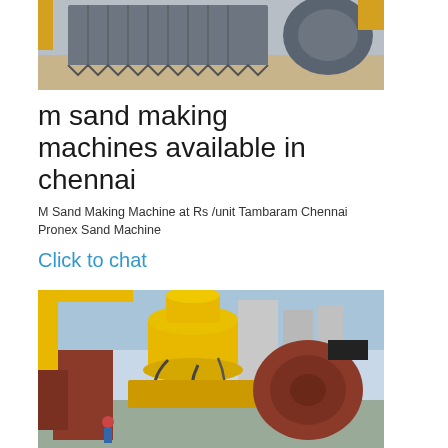[Figure (photo): Photograph of large industrial metal jaw crusher or rock-breaker parts stacked outdoors, grey metal components with toothed edges]
m sand making machines available in chennai
M Sand Making Machine at Rs /unit Tambaram Chennai Pronex Sand Machine
Click to chat
[Figure (photo): Photograph of a large yellow cone crusher machine and red industrial equipment in an outdoor industrial yard]